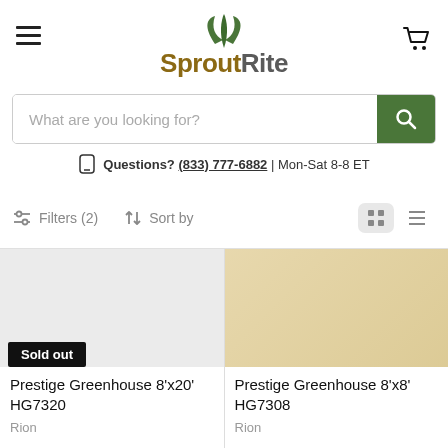SproutRite
What are you looking for?
Questions? (833) 777-6882 | Mon-Sat 8-8 ET
Filters (2)   Sort by
[Figure (screenshot): Product card: Prestige Greenhouse 8'x20' HG7320, Sold out badge, gray product image placeholder, brand: Rion]
[Figure (screenshot): Product card: Prestige Greenhouse 8'x8' HG7308, Save up to $800.00 badge, golden-toned image placeholder, brand: Rion]